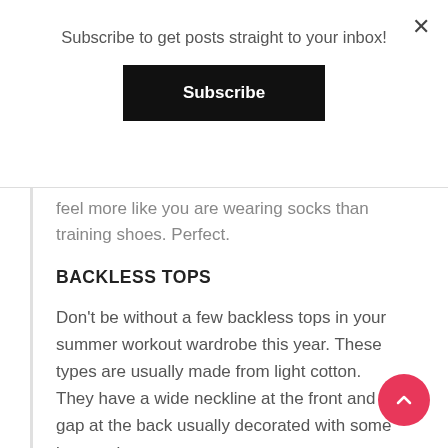Subscribe to get posts straight to your inbox!
Subscribe
feel more like you are wearing socks than training shoes. Perfect.
BACKLESS TOPS
Don't be without a few backless tops in your summer workout wardrobe this year. These types are usually made from light cotton. They have a wide neckline at the front and a gap at the back usually decorated with some lace or ties.
Backless tops are perfect for summer workouts both indoors and outside. They are light and flexible giving you a full range of movement. They also keep you cool and boost your performance by